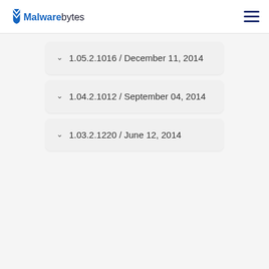Malwarebytes
1.05.2.1016 / December 11, 2014
1.04.2.1012 / September 04, 2014
1.03.2.1220 / June 12, 2014